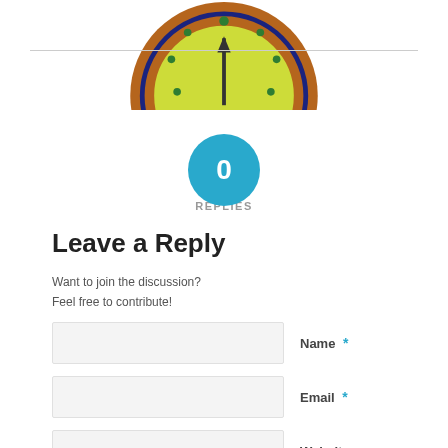[Figure (illustration): Circular badge or seal with brown border, green star decorations, yellow-green center with dark symbol, partially cropped at top of page]
0
REPLIES
Leave a Reply
Want to join the discussion?
Feel free to contribute!
Name *
Email *
Website